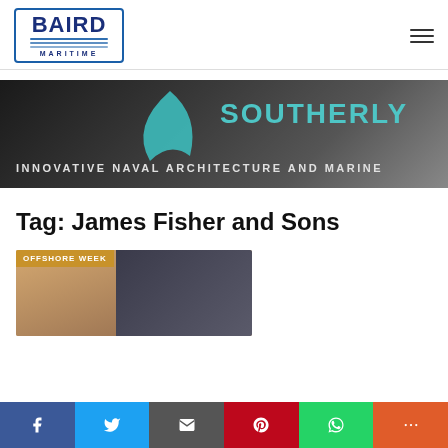[Figure (logo): Baird Maritime logo — blue bordered box with BAIRD in large bold navy text, wave lines, and MARITIME in small caps beneath]
[Figure (illustration): Southerly Designs banner ad — dark gradient background with a teal fin/sail shape, SOUTHERLY text in teal, and subtitle INNOVATIVE NAVAL ARCHITECTURE AND MARINE]
Tag: James Fisher and Sons
[Figure (photo): Offshore Week article card showing two men in a meeting room setting, with an OFFSHORE WEEK badge overlay in gold/brown]
[Figure (infographic): Social sharing bar at bottom with Facebook, Twitter, Email, Pinterest, WhatsApp, and More buttons]